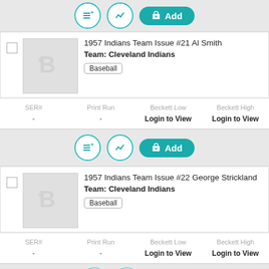[Figure (screenshot): Partial top action bar with list, chart, and Add buttons]
1957 Indians Team Issue #21 Al Smith
Team: Cleveland Indians
Baseball
| SER# | Print Run | Beckett Low | Beckett High |
| --- | --- | --- | --- |
| - | - | Login to View | Login to View |
[Figure (screenshot): Action bar with list, chart, and Add buttons]
1957 Indians Team Issue #22 George Strickland
Team: Cleveland Indians
Baseball
| SER# | Print Run | Beckett Low | Beckett High |
| --- | --- | --- | --- |
| - | - | Login to View | Login to View |
[Figure (screenshot): Partial bottom action bar]
We use cookies to help personalize content, tailor and measure ads, and provide a safer experience. By navigating the site, you agree to the use of cookies to collect information about your visits on our site.
Get Beckett on your mobile device.
Install App